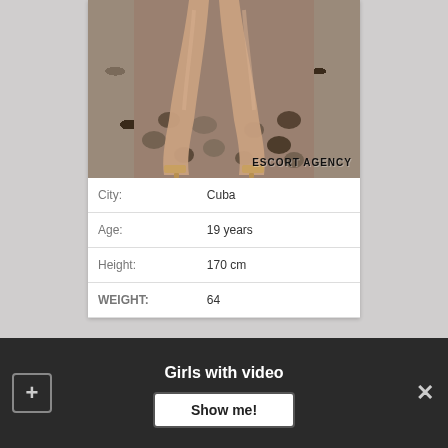[Figure (photo): Photo showing legs of a woman seated on a pebble-tiled surface wearing heels, with watermark text ESCORT AGENCY]
| City: | Cuba |
| Age: | 19 years |
| Height: | 170 cm |
| WEIGHT: | 64 |
Girls with video
Show me!